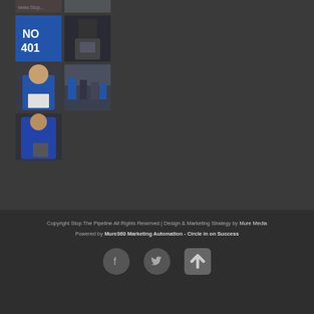[Figure (photo): Grid of protest photos showing people with 'NO 401' signs and blue jackets at a pipeline opposition rally]
Copyright Stop The Pipeline All Rights Reserved | Design & Marketing Strategy by Mure Media
Powered by Mure360 Marketing Automation - Circle in on Success